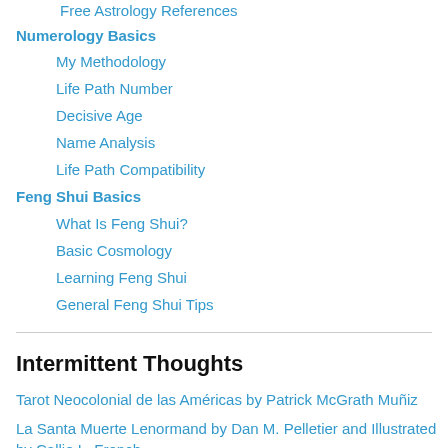Free Astrology References
Numerology Basics
My Methodology
Life Path Number
Decisive Age
Name Analysis
Life Path Compatibility
Feng Shui Basics
What Is Feng Shui?
Basic Cosmology
Learning Feng Shui
General Feng Shui Tips
Intermittent Thoughts
Tarot Neocolonial de las Américas by Patrick McGrath Muñiz
La Santa Muerte Lenormand by Dan M. Pelletier and Illustrated by Callie L. French
Wheel of Fortune, Three of Wands, Three of Cups: Etteilla Deck Art Update